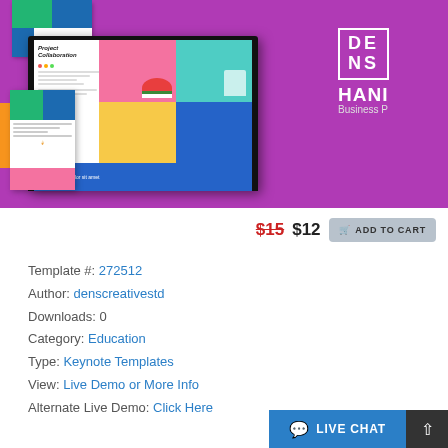[Figure (screenshot): Hero banner showing colorful presentation template mockups on purple background with DENS logo and HANI Business P... branding]
$15 $12 ADD TO CART
Template #: 272512
Author: denscreativestd
Downloads: 0
Category: Education
Type: Keynote Templates
View: Live Demo or More Info
Alternate Live Demo: Click Here
LIVE CHAT